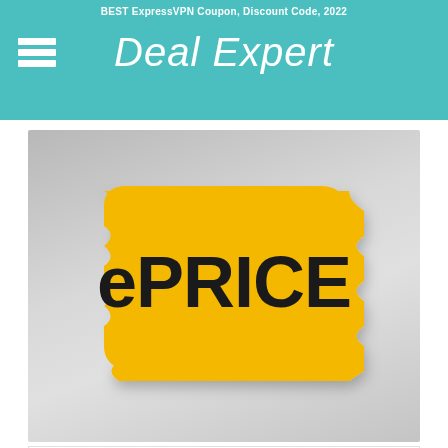BEST ExpressVPN Coupon, Discount Code, 2022
Deal Expert
[Figure (logo): ePRICE logo — a yellow price-tag shape with the text 'ePRICE' in bold black letters, on a light grey gradient background]